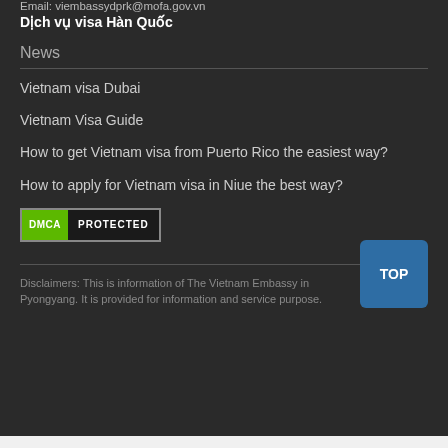Email: viembassydprk@mofa.gov.vn
Dịch vụ visa Hàn Quốc
News
Vietnam visa Dubai
Vietnam Visa Guide
How to get Vietnam visa from Puerto Rico the easiest way?
How to apply for Vietnam visa in Niue the best way?
[Figure (logo): DMCA Protected badge - green DMCA label on left, white PROTECTED text on dark background with border]
Disclaimers: This is information of The Vietnam Embassy in Pyongyang. It is provided for information and service purpose.